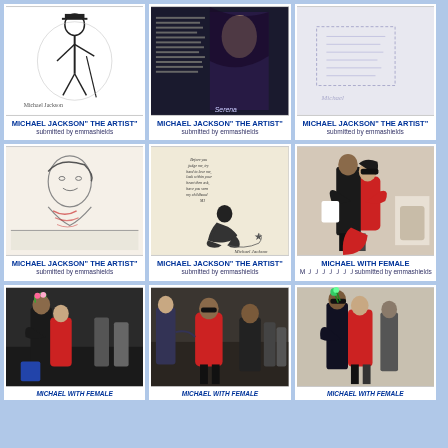[Figure (illustration): Black and white sketch of Michael Jackson as an artist figure]
MICHAEL JACKSON" THE ARTIST"
submitted by emmashields
[Figure (illustration): Artwork showing a figure with handwritten text, labeled Serena]
MICHAEL JACKSON" THE ARTIST"
submitted by emmashields
[Figure (illustration): Child's drawing or sketch in light pencil]
MICHAEL JACKSON" THE ARTIST"
submitted by emmashields
[Figure (illustration): Pencil sketch portrait with red crayon markings]
MICHAEL JACKSON" THE ARTIST"
submitted by emmashields
[Figure (illustration): Drawing of a child sitting alone with text above, signed Michael Jackson]
MICHAEL JACKSON" THE ARTIST"
submitted by emmashields
[Figure (photo): Photo of Michael Jackson with a female in a red dress, hugging]
michael with female 
submitted by emmashields
[Figure (photo): Photo of Michael Jackson with a female in a red dress outdoors at night]
michael with female
[Figure (photo): Photo of group of people including a female in red dress]
michael with female
[Figure (photo): Photo of Michael Jackson with a female in red, holding flowers]
michael with female